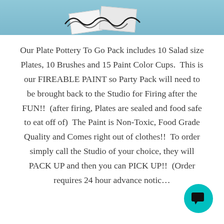[Figure (photo): Top portion of a pottery-to-go pack photo showing blue background with white paper/tissue and black squiggly lines]
Our Plate Pottery To Go Pack includes 10 Salad size Plates, 10 Brushes and 15 Paint Color Cups.  This is our FIREABLE PAINT so Party Pack will need to be brought back to the Studio for Firing after the FUN!!  (after firing, Plates are sealed and food safe to eat off of)  The Paint is Non-Toxic, Food Grade Quality and Comes right out of clothes!!  To order simply call the Studio of your choice, they will PACK UP and then you can PICK UP!!  (Order requires 24 hour advance notice)